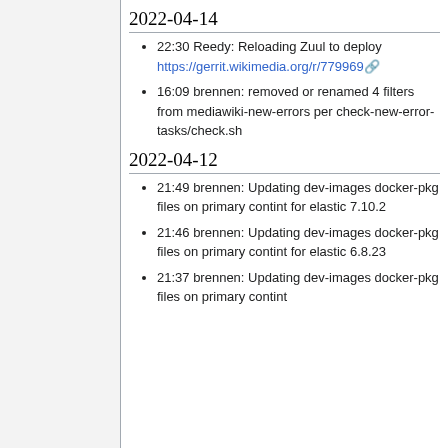2022-04-14
22:30 Reedy: Reloading Zuul to deploy https://gerrit.wikimedia.org/r/779969
16:09 brennen: removed or renamed 4 filters from mediawiki-new-errors per check-new-error-tasks/check.sh
2022-04-12
21:49 brennen: Updating dev-images docker-pkg files on primary contint for elastic 7.10.2
21:46 brennen: Updating dev-images docker-pkg files on primary contint for elastic 6.8.23
21:37 brennen: Updating dev-images docker-pkg files on primary contint